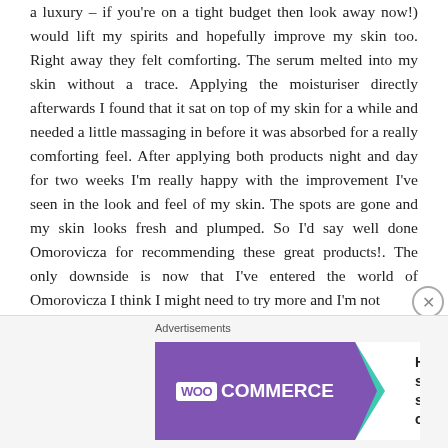a luxury – if you're on a tight budget then look away now!) would lift my spirits and hopefully improve my skin too. Right away they felt comforting. The serum melted into my skin without a trace. Applying the moisturiser directly afterwards I found that it sat on top of my skin for a while and needed a little massaging in before it was absorbed for a really comforting feel. After applying both products night and day for two weeks I'm really happy with the improvement I've seen in the look and feel of my skin. The spots are gone and my skin looks fresh and plumped. So I'd say well done Omorovicza for recommending these great products!. The only downside is now that I've entered the world of Omorovicza I think I might need to try more and I'm not
[Figure (other): WooCommerce advertisement banner: purple WooCommerce logo on left with teal arrow chevron, text 'How to start selling subscriptions online' on right, orange and blue leaf shapes decorating the right side.]